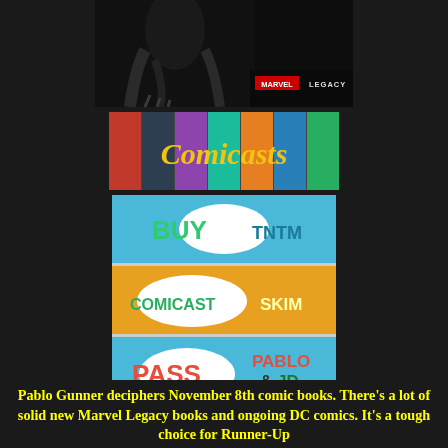[Figure (photo): Marvel Legacy promotional image with a dark moody figure and Marvel Legacy logo in red/white text on the right]
[Figure (photo): Comicasts banner image with comic book covers and yellow 'Comicasts' text overlay]
[Figure (illustration): Rating buttons graphic showing three pop-art style banners: 'BUY TNTM' in green/teal, 'COMICAST SKIM' in green/yellow, and 'PASS PABLO & JD' in red/orange/blue]
Pablo Gunner deciphers November 8th comic books. There's a lot of solid new Marvel Legacy books and ongoing DC comics. It's a tough choice for Runner-Up